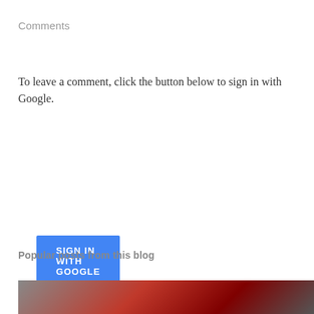Comments
To leave a comment, click the button below to sign in with Google.
[Figure (screenshot): Blue 'SIGN IN WITH GOOGLE' button with white uppercase text on a blue (#4285f4) background]
Popular posts from this blog
[Figure (photo): Partially visible blog post thumbnail image showing a dark red/maroon background scene, cut off at the bottom of the page]